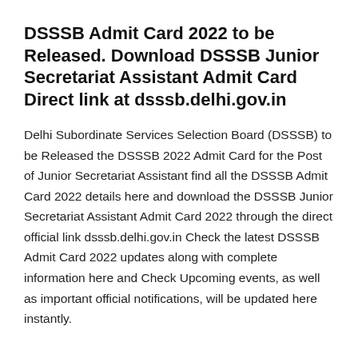DSSSB Admit Card 2022 to be Released. Download DSSSB Junior Secretariat Assistant Admit Card Direct link at dsssb.delhi.gov.in
Delhi Subordinate Services Selection Board (DSSSB) to be Released the DSSSB 2022 Admit Card for the Post of Junior Secretariat Assistant find all the DSSSB Admit Card 2022 details here and download the DSSSB Junior Secretariat Assistant Admit Card 2022 through the direct official link dsssb.delhi.gov.in Check the latest DSSSB Admit Card 2022 updates along with complete information here and Check Upcoming events, as well as important official notifications, will be updated here instantly.